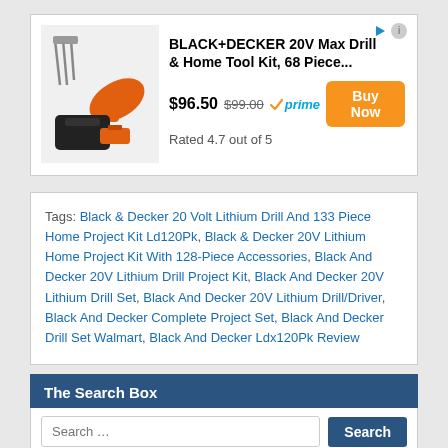[Figure (screenshot): Amazon ad for BLACK+DECKER 20V Max Drill & Home Tool Kit, 68 Piece with product image showing drill, tools, and carrying case. Price $96.50, was $99.00, Prime eligible. Rated 4.7 out of 5. Buy Now orange button.]
Tags: Black & Decker 20 Volt Lithium Drill And 133 Piece Home Project Kit Ld120Pk, Black & Decker 20V Lithium Home Project Kit With 128-Piece Accessories, Black And Decker 20V Lithium Drill Project Kit, Black And Decker 20V Lithium Drill Set, Black And Decker 20V Lithium Drill/Driver, Black And Decker Complete Project Set, Black And Decker Drill Set Walmart, Black And Decker Ldx120Pk Review
The Search Box